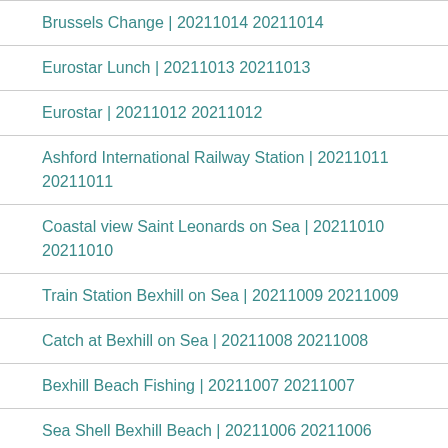Brussels Change | 20211014 20211014
Eurostar Lunch | 20211013 20211013
Eurostar | 20211012 20211012
Ashford International Railway Station | 20211011 20211011
Coastal view Saint Leonards on Sea | 20211010 20211010
Train Station Bexhill on Sea | 20211009 20211009
Catch at Bexhill on Sea | 20211008 20211008
Bexhill Beach Fishing | 20211007 20211007
Sea Shell Bexhill Beach | 20211006 20211006